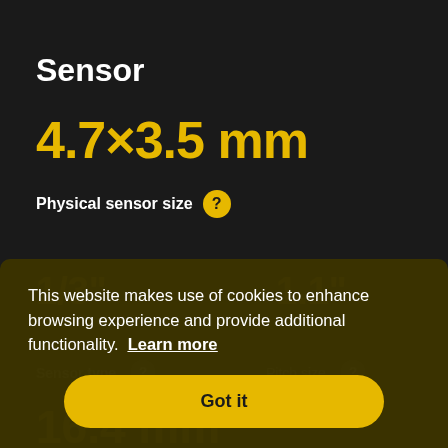Sensor
4.7×3.5 mm
Physical sensor size
1/3"
1.1"
Sensor type
Pitch size
16.4 mm²
This website makes use of cookies to enhance browsing experience and provide additional functionality. Learn more
Got it